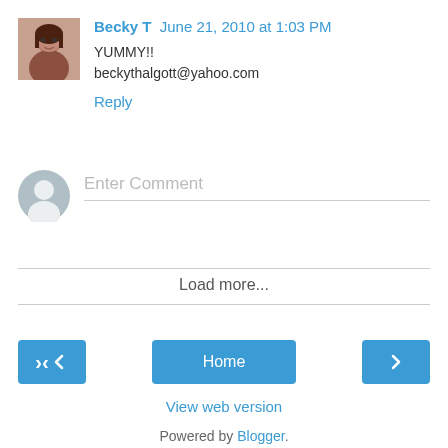Becky T  June 21, 2010 at 1:03 PM
YUMMY!!
beckythalgott@yahoo.com
Reply
Enter Comment
Load more...
Home
View web version
Powered by Blogger.